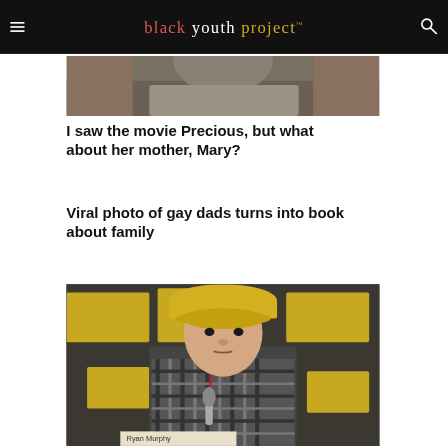black youth project™
[Figure (photo): Partial photo of a person seated, wearing a gray hoodie, cropped at the top]
I saw the movie Precious, but what about her mother, Mary?
Viral photo of gay dads turns into book about family
[Figure (photo): Man wearing a yellow flat cap and checkered shirt sitting at a panel with a microphone, likely at Comic-Con. A nameplate partially reading 'Ryan Murphy' is visible.]